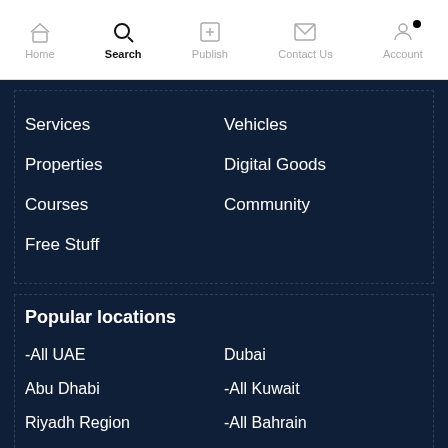Home | Search | Publish | Contact Us | Account
Services
Vehicles
Properties
Digital Goods
Courses
Community
Free Stuff
Popular locations
-All UAE
Dubai
Abu Dhabi
-All Kuwait
Riyadh Region
-All Bahrain
Abu Dhabi Emirate
Kuwait City
-All Qatar
Ajman